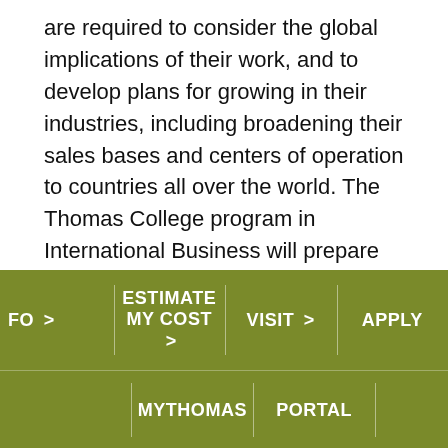are required to consider the global implications of their work, and to develop plans for growing in their industries, including broadening their sales bases and centers of operation to countries all over the world. The Thomas College program in International Business will prepare you for leadership on this global scale.
The Harold Alfond® Institute for Business Innovation offers Thomas College students innovation challenges; workshops and seminars;
FO > | ESTIMATE MY COST > | VISIT > | APPLY | MYTHOMAS | PORTAL